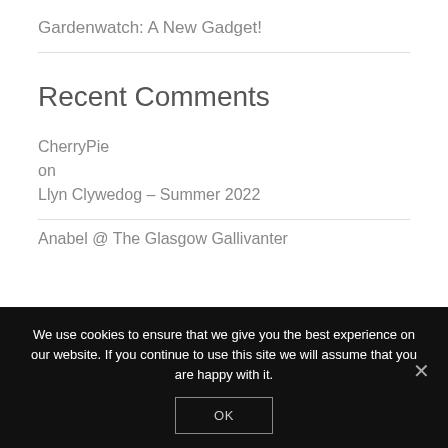Gardenwatch: A New Gadget!
Recent Comments
CherryPie
on
Llyn Clywedog – Summer 2022
Anabel @ The Glasgow Gallivanter
We use cookies to ensure that we give you the best experience on our website. If you continue to use this site we will assume that you are happy with it.